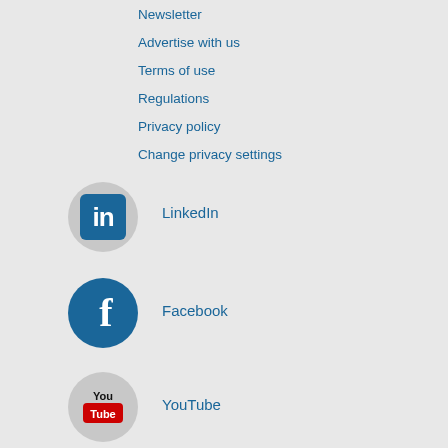Newsletter
Advertise with us
Terms of use
Regulations
Privacy policy
Change privacy settings
[Figure (logo): LinkedIn circular logo with 'in' white text on blue square background]
LinkedIn
[Figure (logo): Facebook circular logo with 'f' white text on blue circle]
Facebook
[Figure (logo): YouTube logo with 'You' above red rounded rectangle with 'Tube' in white]
YouTube